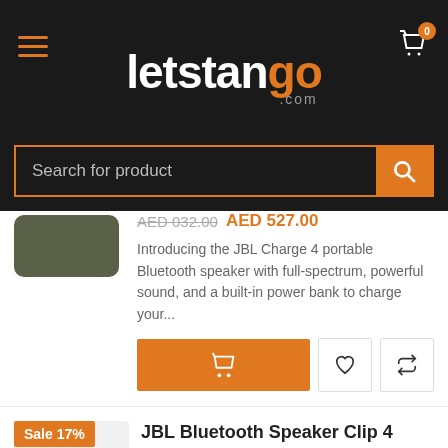[Figure (screenshot): letstango.com e-commerce website header with logo on dark background, hamburger menu, and cart icon]
[Figure (screenshot): Search bar with orange border and search button on dark background with placeholder text 'Search for product']
AED 032.00  AED 527.00
Introducing the JBL Charge 4 portable Bluetooth speaker with full-spectrum, powerful sound, and a built-in power bank to charge your...
JBL Bluetooth Speaker Clip 4
AED 288.00  AED 240.00
Clip and Play Cool, portable, and